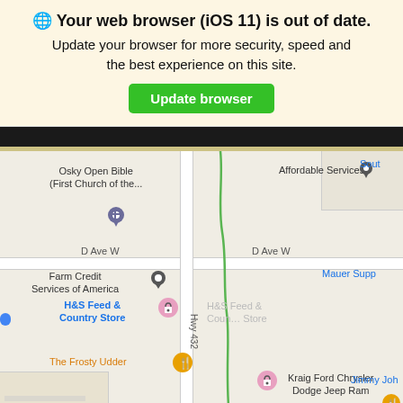🌐 Your web browser (iOS 11) is out of date. Update your browser for more security, speed and the best experience on this site.
Update browser
[Figure (map): Google Maps screenshot showing a small town area with roads including Hwy 432 and D Ave W, and businesses including Osky Open Bible (First Church of the...), Affordable Services, Farm Credit Services of America, H&S Feed & Country Store, The Frosty Udder, Kraig Ford Chrysler Dodge Jeep Ram, Jimmy Joh..., Mauer Supp..., phy USA, and Sout...]